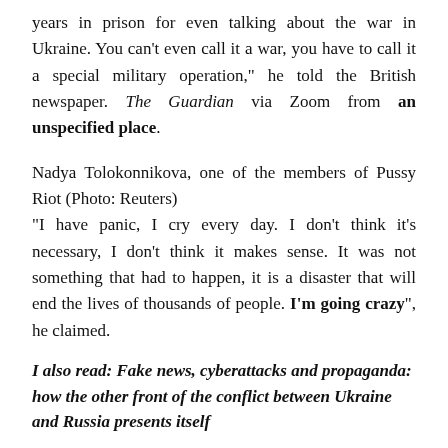years in prison for even talking about the war in Ukraine. You can't even call it a war, you have to call it a special military operation," he told the British newspaper. The Guardian via Zoom from an unspecified place.
Nadya Tolokonnikova, one of the members of Pussy Riot (Photo: Reuters) "I have panic, I cry every day. I don't think it's necessary, I don't think it makes sense. It was not something that had to happen, it is a disaster that will end the lives of thousands of people. I'm going crazy", he claimed.
I also read: Fake news, cyberattacks and propaganda: how the other front of the conflict between Ukraine and Russia presents itself
After the invasion, the artist participated in a campaign to help Ukraine and raised approximately $7 million in an auction of a Ukrainian flag non-fungible token (NFT).
"Not as much as terrorist Putin officials steal, but we are happy to have managed to raise more than seven million dollars in a few days," he wrote on his Twitter account. The funds will be used for medical supplies and